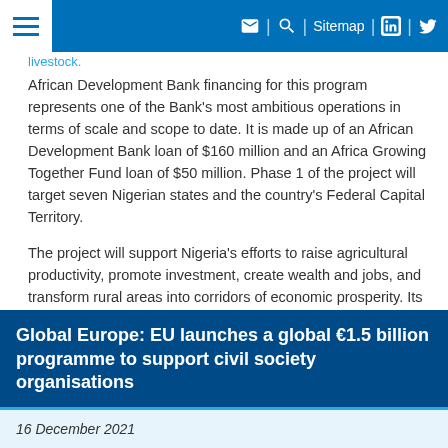Sitemap
livestock.
African Development Bank financing for this program represents one of the Bank's most ambitious operations in terms of scale and scope to date. It is made up of an African Development Bank loan of $160 million and an Africa Growing Together Fund loan of $50 million. Phase 1 of the project will target seven Nigerian states and the country's Federal Capital Territory.
The project will support Nigeria's efforts to raise agricultural productivity, promote investment, create wealth and jobs, and transform rural areas into corridors of economic prosperity. Its first phase will be implemented with co-financing from other partners in the amount of $538.05 million.
Read more ...
Global Europe: EU launches a global €1.5 billion programme to support civil society organisations
16 December 2021